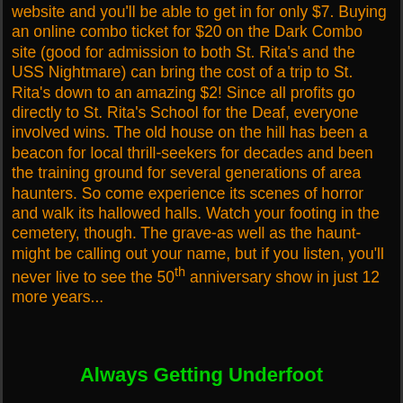website and you'll be able to get in for only $7. Buying an online combo ticket for $20 on the Dark Combo site (good for admission to both St. Rita's and the USS Nightmare) can bring the cost of a trip to St. Rita's down to an amazing $2! Since all profits go directly to St. Rita's School for the Deaf, everyone involved wins. The old house on the hill has been a beacon for local thrill-seekers for decades and been the training ground for several generations of area haunters. So come experience its scenes of horror and walk its hallowed halls. Watch your footing in the cemetery, though. The grave-as well as the haunt-might be calling out your name, but if you listen, you'll never live to see the 50th anniversary show in just 12 more years...
Always Getting Underfoot